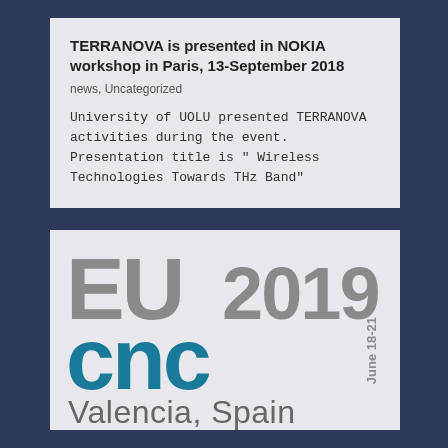TERRANOVA is presented in NOKIA workshop in Paris, 13-September 2018
news, Uncategorized
University of UOLU presented TERRANOVA activities during the event. Presentation title is "Wireless Technologies Towards THz Band"
[Figure (logo): EuCNC 2019 conference logo with EU in grey, CNC in teal/blue, 2019 in grey rotated text, June 18-21 vertical text, and Valencia, Spain text below]